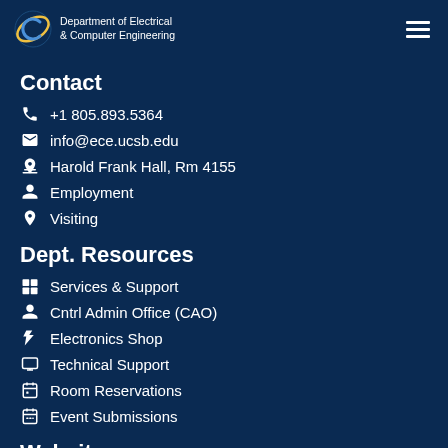Department of Electrical & Computer Engineering
Contact
+1 805.893.5364
info@ece.ucsb.edu
Harold Frank Hall, Rm 4155
Employment
Visiting
Dept. Resources
Services & Support
Cntrl Admin Office (CAO)
Electronics Shop
Technical Support
Room Reservations
Event Submissions
Website
Content
Information
Terms of Use